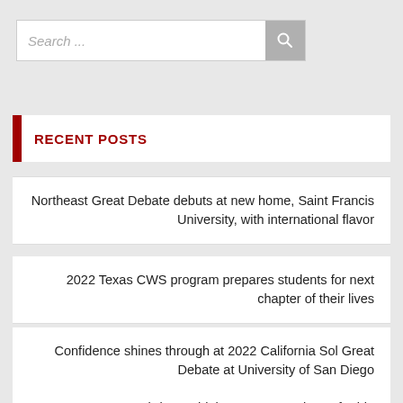Search ...
RECENT POSTS
Northeast Great Debate debuts at new home, Saint Francis University, with international flavor
2022 Texas CWS program prepares students for next chapter of their lives
Confidence shines through at 2022 California Sol Great Debate at University of San Diego
2022 Texas LDZ brings a high-energy experience for big